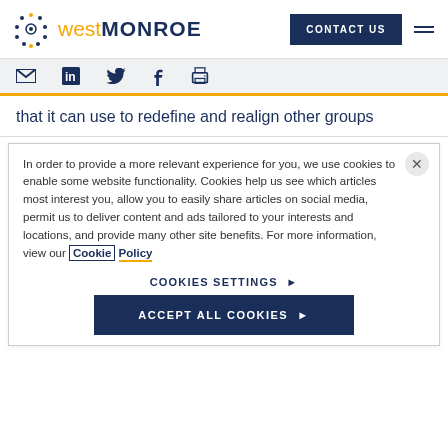West Monroe — CONTACT US
that it can use to redefine and realign other groups
In order to provide a more relevant experience for you, we use cookies to enable some website functionality. Cookies help us see which articles most interest you, allow you to easily share articles on social media, permit us to deliver content and ads tailored to your interests and locations, and provide many other site benefits. For more information, view our Cookie Policy
COOKIES SETTINGS ▶
ACCEPT ALL COOKIES ▶